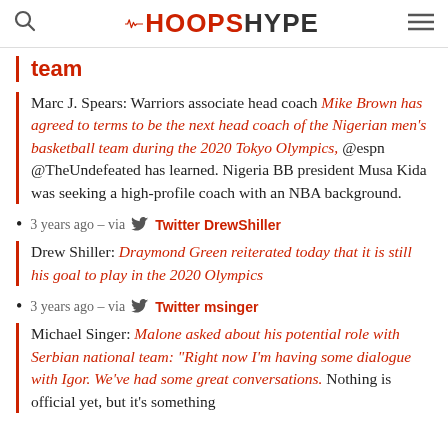HOOPSHYPE
team
Marc J. Spears: Warriors associate head coach Mike Brown has agreed to terms to be the next head coach of the Nigerian men's basketball team during the 2020 Tokyo Olympics, @espn @TheUndefeated has learned. Nigeria BB president Musa Kida was seeking a high-profile coach with an NBA background.
3 years ago – via Twitter DrewShiller
Drew Shiller: Draymond Green reiterated today that it is still his goal to play in the 2020 Olympics
3 years ago – via Twitter msinger
Michael Singer: Malone asked about his potential role with Serbian national team: "Right now I'm having some dialogue with Igor. We've had some great conversations. Nothing is official yet, but it's something